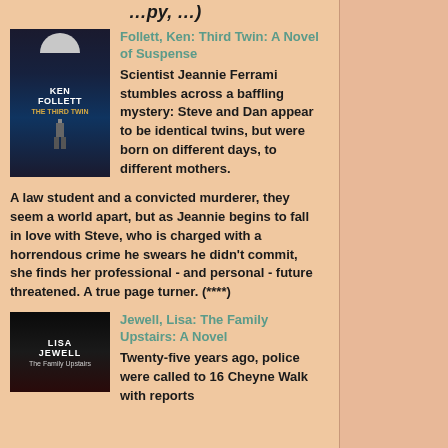[Figure (illustration): Book cover for Ken Follett's The Third Twin - dark cover with dome/capitol building silhouette]
Follett, Ken: Third Twin: A Novel of Suspense
Scientist Jeannie Ferrami stumbles across a baffling mystery: Steve and Dan appear to be identical twins, but were born on different days, to different mothers. A law student and a convicted murderer, they seem a world apart, but as Jeannie begins to fall in love with Steve, who is charged with a horrendous crime he swears he didn't commit, she finds her professional - and personal - future threatened. A true page turner. (****)
[Figure (illustration): Book cover for Lisa Jewell's The Family Upstairs - dark cover with author name in large white letters]
Jewell, Lisa: The Family Upstairs: A Novel
Twenty-five years ago, police were called to 16 Cheyne Walk with reports